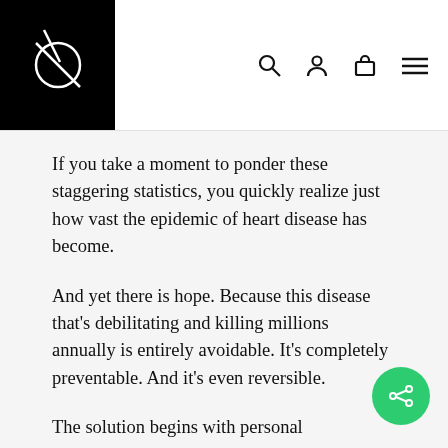[Figure (logo): Black square logo with white circle and diagonal lines forming a stylized symbol]
If you take a moment to ponder these staggering statistics, you quickly realize just how vast the epidemic of heart disease has become.
And yet there is hope. Because this disease that's debilitating and killing millions annually is entirely avoidable. It's completely preventable. And it's even reversible.
The solution begins with personal